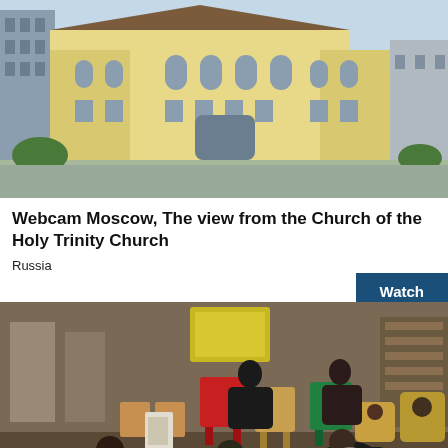[Figure (photo): Exterior photo of a large yellow and white classical-style building (Church of the Holy Trinity) in Moscow, Russia, taken from a webcam perspective. Blue sky visible above.]
Webcam Moscow, The view from the Church of the Holy Trinity Church
Russia
[Figure (photo): Interior photo of Koto cafe (cat club) in Moscow. Several people sitting on colorful chairs and on the floor, surrounded by cats and wooden furniture. Warm lighting.]
Webcam Moscow, Koto cafe (the cat club)